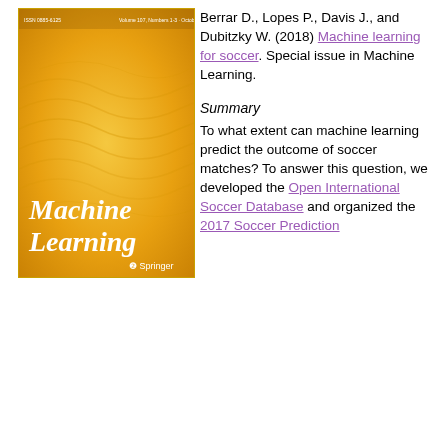[Figure (photo): Book cover of Machine Learning journal published by Springer, with golden/orange wavy background and italic white serif title text 'Machine Learning']
Berrar D., Lopes P., Davis J., and Dubitzky W. (2018) Machine learning for soccer. Special issue in Machine Learning.
Summary
To what extent can machine learning predict the outcome of soccer matches? To answer this question, we developed the Open International Soccer Database and organized the 2017 Soccer Prediction
Machine learning for soccer